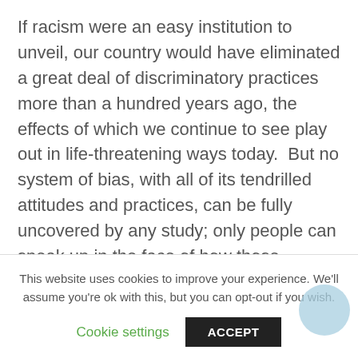If racism were an easy institution to unveil, our country would have eliminated a great deal of discriminatory practices more than a hundred years ago, the effects of which we continue to see play out in life-threatening ways today.  But no system of bias, with all of its tendrilled attitudes and practices, can be fully uncovered by any study; only people can speak up in the face of how those attitudes manifest and are realized. Only people can do the difficult work of creating awareness and
This website uses cookies to improve your experience. We'll assume you're ok with this, but you can opt-out if you wish.
Cookie settings
ACCEPT